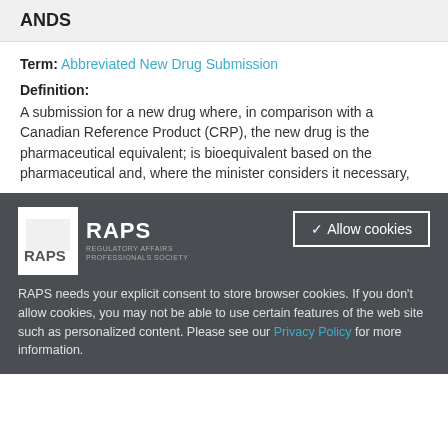ANDS
Term: Abbreviated New Drug Submission
Definition:
A submission for a new drug where, in comparison with a Canadian Reference Product (CRP), the new drug is the pharmaceutical equivalent; is bioequivalent based on the pharmaceutical and, where the minister considers it necessary,
[Figure (logo): RAPS - Regulatory Affairs Professionals Society logo: white square with RAPS text and full organization name]
Allow cookies
RAPS needs your explicit consent to store browser cookies. If you don't allow cookies, you may not be able to use certain features of the web site such as personalized content. Please see our Privacy Policy for more information.